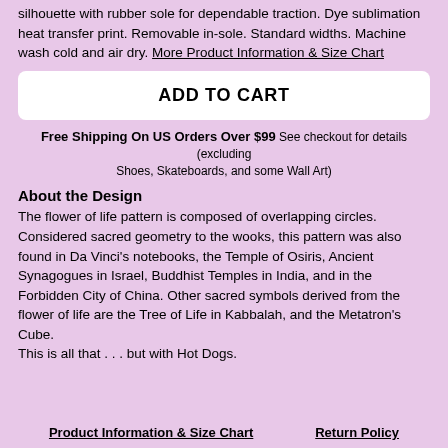silhouette with rubber sole for dependable traction. Dye sublimation heat transfer print. Removable in-sole. Standard widths. Machine wash cold and air dry. More Product Information & Size Chart
ADD TO CART
Free Shipping On US Orders Over $99 See checkout for details (excluding Shoes, Skateboards, and some Wall Art)
About the Design
The flower of life pattern is composed of overlapping circles. Considered sacred geometry to the wooks, this pattern was also found in Da Vinci's notebooks, the Temple of Osiris, Ancient Synagogues in Israel, Buddhist Temples in India, and in the Forbidden City of China. Other sacred symbols derived from the flower of life are the Tree of Life in Kabbalah, and the Metatron's Cube.
This is all that . . . but with Hot Dogs.
Product Information & Size Chart   Return Policy